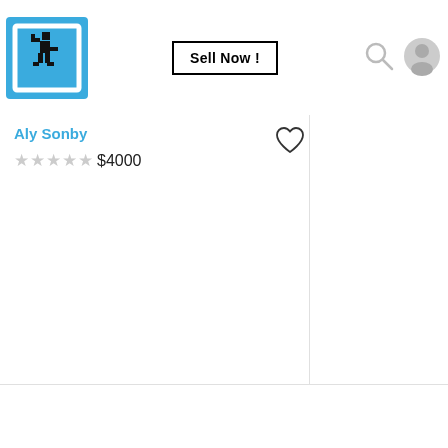[Figure (logo): Blue square logo with white border frame and pixelated black figure walking/marching]
Sell Now !
[Figure (other): Search magnifying glass icon]
[Figure (other): User/profile circle icon]
Aly Sonby
[Figure (other): Heart/favorite outline icon]
★ ★ ★ ★ ★ $4000